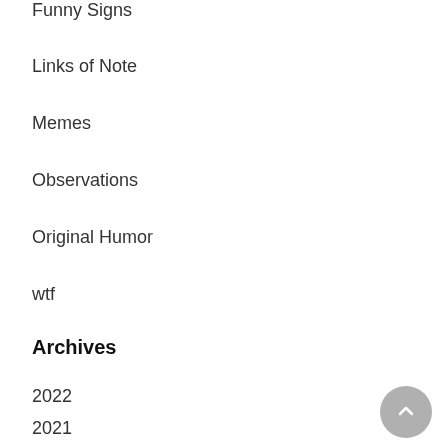Funny Signs
Links of Note
Memes
Observations
Original Humor
wtf
Archives
2022
2021
2020
2019
2018
2017